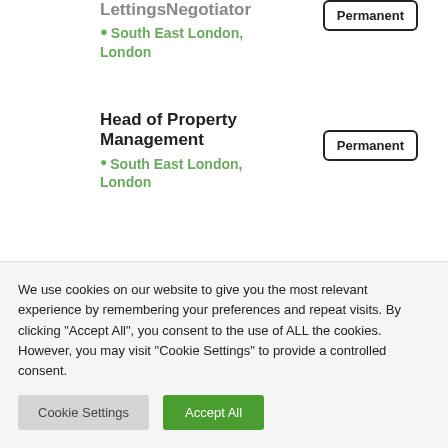LettingsNegotiator
South East London, London
Permanent
Head of Property Management
South East London, London
Permanent
P...
We use cookies on our website to give you the most relevant experience by remembering your preferences and repeat visits. By clicking "Accept All", you consent to the use of ALL the cookies. However, you may visit "Cookie Settings" to provide a controlled consent.